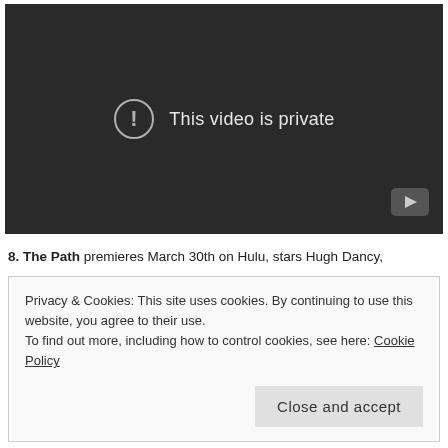[Figure (screenshot): Dark video player showing 'This video is private' message with exclamation icon and YouTube logo in bottom right corner.]
8. The Path premieres March 30th on Hulu, stars Hugh Dancy,
Privacy & Cookies: This site uses cookies. By continuing to use this website, you agree to their use.
To find out more, including how to control cookies, see here: Cookie Policy

Close and accept